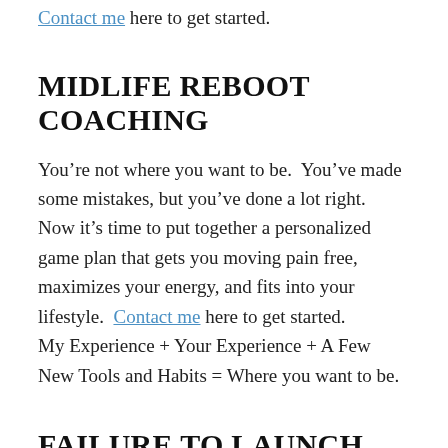Contact me here to get started.
MIDLIFE REBOOT COACHING
You’re not where you want to be. You’ve made some mistakes, but you’ve done a lot right. Now it’s time to put together a personalized game plan that gets you moving pain free, maximizes your energy, and fits into your lifestyle. Contact me here to get started.
My Experience + Your Experience + A Few New Tools and Habits = Where you want to be.
FAILURE TO LAUNCH COACHING
I have work with a lot of smart and motivated